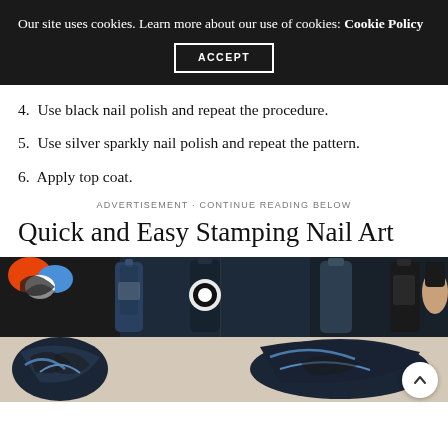Our site uses cookies. Learn more about our use of cookies: Cookie Policy
ACCEPT
4.  Use black nail polish and repeat the procedure.
5.  Use silver sparkly nail polish and repeat the pattern.
6.  Apply top coat.
ADVERTISEMENT · CONTINUE READING BELOW
Quick and Easy Stamping Nail Art
[Figure (photo): Collage photo showing nail polish bottles with dark metallic colors and nail art stamping designs on nails with black and blue patterns]